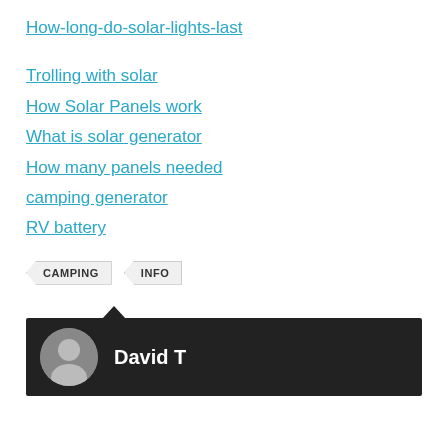How-long-do-solar-lights-last
Trolling with solar
How Solar Panels work
What is solar generator
How many panels needed
camping generator
RV battery
CAMPING  INFO
David T